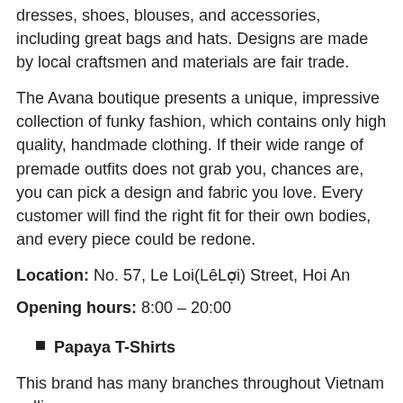dresses, shoes, blouses, and accessories, including great bags and hats. Designs are made by local craftsmen and materials are fair trade.
The Avana boutique presents a unique, impressive collection of funky fashion, which contains only high quality, handmade clothing. If their wide range of premade outfits does not grab you, chances are, you can pick a design and fabric you love. Every customer will find the right fit for their own bodies, and every piece could be redone.
Location: No. 57, Le Loi(LêLợi) Street, Hoi An
Opening hours: 8:00 – 20:00
Papaya T-Shirts
This brand has many branches throughout Vietnam selling